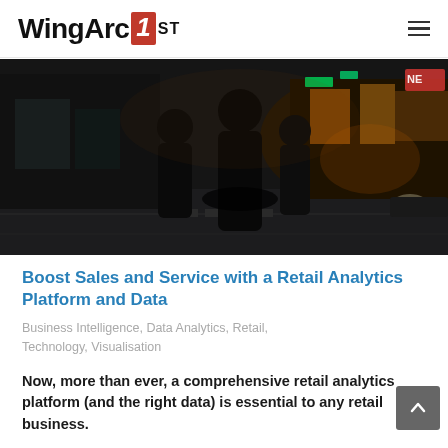WingArc 1st
[Figure (photo): Night street scene with silhouettes of pedestrians walking through a brightly lit urban shopping district, likely in Japan, with neon signs and storefronts illuminating the scene.]
Boost Sales and Service with a Retail Analytics Platform and Data
Business Intelligence, Data Analytics, Retail, Technology, Visualisation
Now, more than ever, a comprehensive retail analytics platform (and the right data) is essential to any retail business.